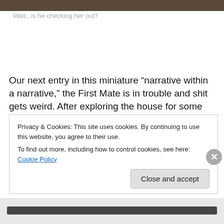[Figure (photo): Dark brown/olive colored image strip at top of page]
Wait.. is he checking her out?
Our next entry in this miniature “narrative within a narrative,” the First Mate is in trouble and shit gets weird.  After exploring the house for some time, you find hidden compartments in the walls.  In one compartment is another story about Princess Allegra, as the pirate captain has by now been named, is searching for her First Mate in a
Privacy & Cookies: This site uses cookies. By continuing to use this website, you agree to their use.
To find out more, including how to control cookies, see here: Cookie Policy
Close and accept